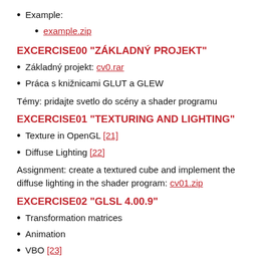Example:
example.zip
EXCERCISE00 "ZÁKLADNÝ PROJEKT"
Základný projekt: cv0.rar
Práca s knižnicami GLUT a GLEW
Témy: pridajte svetlo do scény a shader programu
EXCERCISE01 "TEXTURING AND LIGHTING"
Texture in OpenGL [21]
Diffuse Lighting [22]
Assignment: create a textured cube and implement the diffuse lighting in the shader program: cv01.zip
EXCERCISE02 "GLSL 4.00.9"
Transformation matrices
Animation
VBO [23]